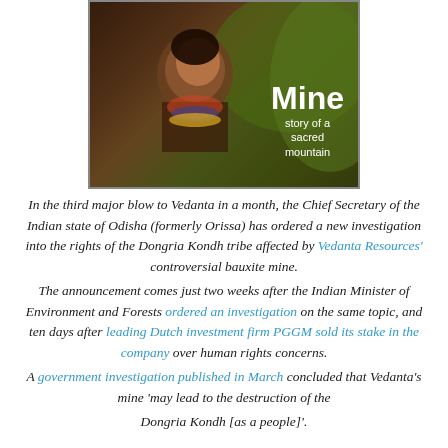[Figure (photo): Photo of a Dongria Kondh tribal woman smiling, wearing traditional jewelry including a nose ring and colorful necklaces, with green vegetation in the background. Text overlay reads 'Mine story of a sacred mountain']
In the third major blow to Vedanta in a month, the Chief Secretary of the Indian state of Odisha (formerly Orissa) has ordered a new investigation into the rights of the Dongria Kondh tribe affected by Vedanta Resources' controversial bauxite mine. The announcement comes just two weeks after the Indian Minister of Environment and Forests ordered an investigation on the same topic, and ten days after leading Dutch investment firm PGGM sold its stake in the company over human rights concerns. A government investigation published in March concluded that Vedanta's mine 'may lead to the destruction of the Dongria Kondh [as a people]'.